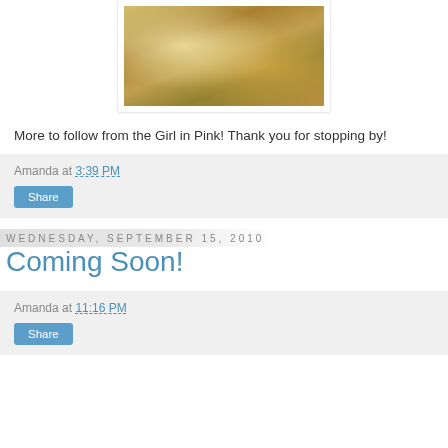[Figure (photo): Close-up photo of gold/cream colored decorative objects, possibly jewelry or ornamental items, with lace-like and metallic textures]
More to follow from the Girl in Pink!  Thank you for stopping by!
Amanda at 3:39 PM
Share
Wednesday, September 15, 2010
Coming Soon!
Amanda at 11:16 PM
Share